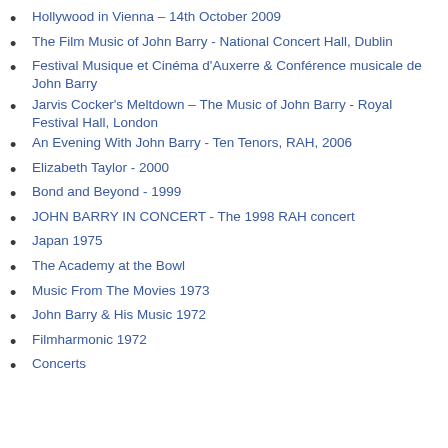Hollywood in Vienna – 14th October 2009
The Film Music of John Barry - National Concert Hall, Dublin
Festival Musique et Cinéma d'Auxerre & Conférence musicale de John Barry
Jarvis Cocker's Meltdown – The Music of John Barry - Royal Festival Hall, London
An Evening With John Barry - Ten Tenors, RAH, 2006
Elizabeth Taylor - 2000
Bond and Beyond - 1999
JOHN BARRY IN CONCERT - The 1998 RAH concert
Japan 1975
The Academy at the Bowl
Music From The Movies 1973
John Barry & His Music 1972
Filmharmonic 1972
Concerts